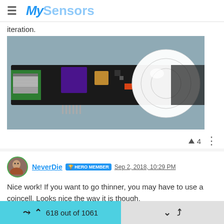MySensors
iteration.
[Figure (photo): Photo of a PIR motion sensor module mounted on a PCB circuit board with electronic components and a white dome lens]
▲ 4  ⋮
NeverDie  HERO MEMBER  Sep 2, 2018, 10:29 PM
Nice work! If you want to go thinner, you may have to use a coincell. Looks nice the way it is though.
▲ 0  ⋮
618 out of 1061